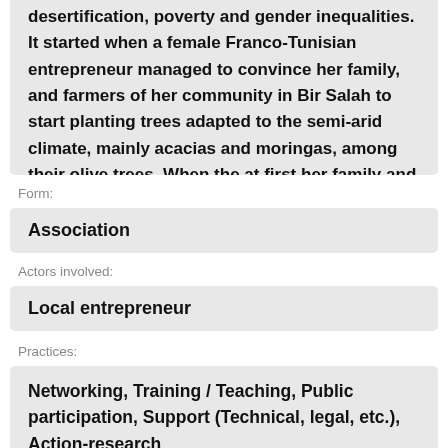desertification, poverty and gender inequalities. It started when a female Franco-Tunisian entrepreneur managed to convince her family, and farmers of her community in Bir Salah to start planting trees adapted to the semi-arid climate, mainly acacias and moringas, among their olive trees. When the at first her family and the men of her
Form:
Association
Actors involved:
Local entrepreneur
Practices:
Networking, Training / Teaching, Public participation, Support (Technical, legal, etc.), Action-research